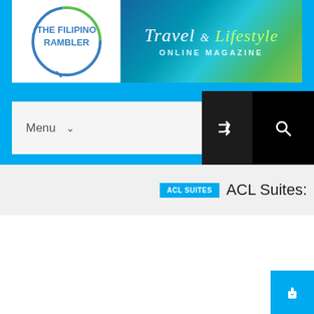[Figure (logo): The Filipino Rambler logo - circle with blue and green arcs, with text THE FILIPINO RAMBLER inside]
[Figure (logo): Travel & Lifestyle Online Magazine text logo on teal/blue/green brushstroke background]
Menu
ACL SUITES
ACL Suites: